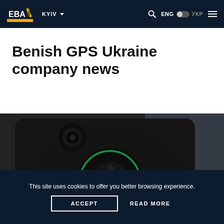EBA | KYIV | ENG | УКР
Benish GPS Ukraine company news
[Figure (photo): Close-up photo of a black GPS tracking device with a green LED ring indicator, being held by a person's fingers]
This site uses cookies to offer you better browsing experience.
ACCEPT
READ MORE